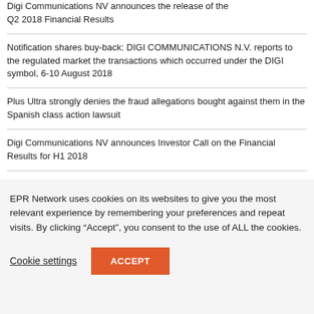Digi Communications NV announces the release of the Q2 2018 Financial Results
Notification shares buy-back: DIGI COMMUNICATIONS N.V. reports to the regulated market the transactions which occurred under the DIGI symbol, 6-10 August 2018
Plus Ultra strongly denies the fraud allegations bought against them in the Spanish class action lawsuit
Digi Communications NV announces Investor Call on the Financial Results for H1 2018
EPR Network uses cookies on its websites to give you the most relevant experience by remembering your preferences and repeat visits. By clicking “Accept”, you consent to the use of ALL the cookies.
Cookie settings
ACCEPT